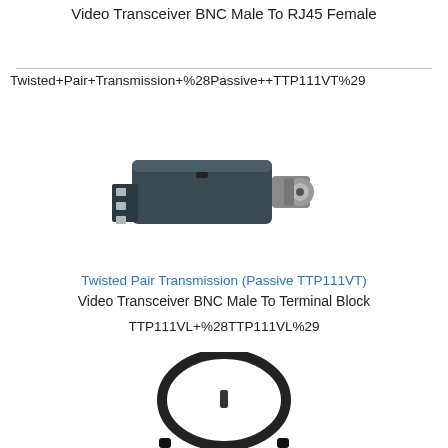Video Transceiver BNC Male To RJ45 Female
Twisted+Pair+Transmission+%28Passive++TTP111VT%29
[Figure (photo): Photo of a dark grey video transceiver device with BNC male connector on one end and terminal block on the other end.]
Twisted Pair Transmission (Passive TTP111VT)
Video Transceiver BNC Male To Terminal Block
TTP111VL+%28TTP111VL%29
[Figure (photo): Photo of a black cable/wire connector with circular loop, partially visible at the bottom of the page.]